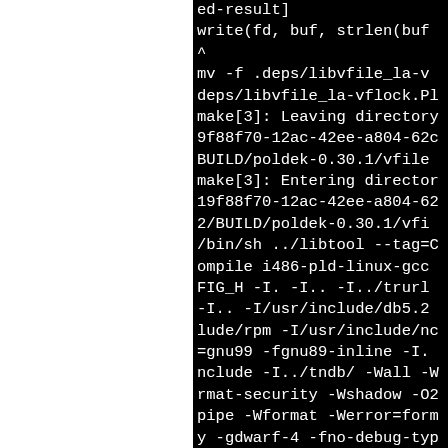[Figure (screenshot): Terminal/build log output on black background showing compiler and make commands, split with white panel on left side]
ed-result]
write(fd, buf, strlen(buf
^
mv -f .deps/libvfile_la-v
deps/libvfile_la-vflock.Pl
make[3]: Leaving directory
9f88f70-12ac-42ee-a804-62c
BUILD/poldek-0.30.1/vfile
make[3]: Entering director
19f88f70-12ac-42ee-a804-62
2/BUILD/poldek-0.30.1/vfi
/bin/sh ../libtool --tag=C
ompile i486-pld-linux-gcc
FIG_H -I. -I.. -I../trurl
-I.. -I/usr/include/db5.2
lude/rpm -I/usr/include/nc
=gnu99 -fgnu89-inline -I.
nclude -I../tndb/ -Wall -W
rmat-security -Wshadow -O2
pipe -Wformat -Werror=form
y -gdwarf-4 -fno-debug-typ
-fvar-tracking-assignments
D_FORTIFY_SOURCE=2 -fstack
--param=ssp-buffer-size=4